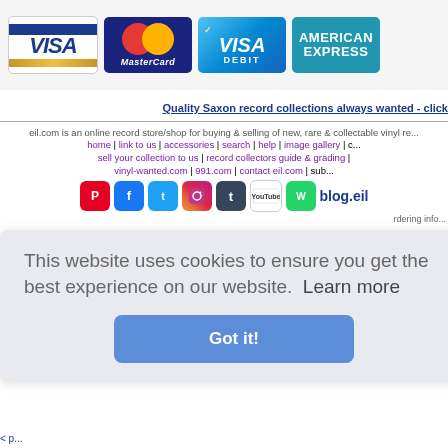[Figure (logo): Payment method logos: Visa, MasterCard, Visa Debit, American Express]
Quality Saxon record collections always wanted - click
eil.com is an online record store/shop for buying & selling of new, rare & collectable vinyl re...
home | link to us | accessories | search | help | image gallery | c...
sell your collection to us | record collectors guide & grading |
vinyl-wanted.com | 991.com | contact eil.com | sub...
[Figure (illustration): Social media icons: Pinterest, Facebook, Twitter, Instagram, Tumblr, YouTube, WhatsApp, blog.eil]
rdering info...
This website uses cookies to ensure you get the best experience on our website.  Learn more
Got it!
< p...